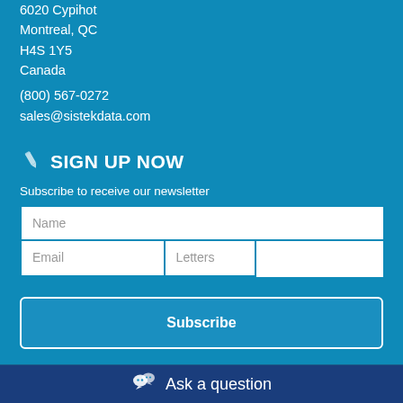6020 Cypihot
Montreal, QC
H4S 1Y5
Canada
(800) 567-0272
sales@sistekdata.com
SIGN UP NOW
Subscribe to receive our newsletter
Name
Email
Letters
Subscribe
Ask a question